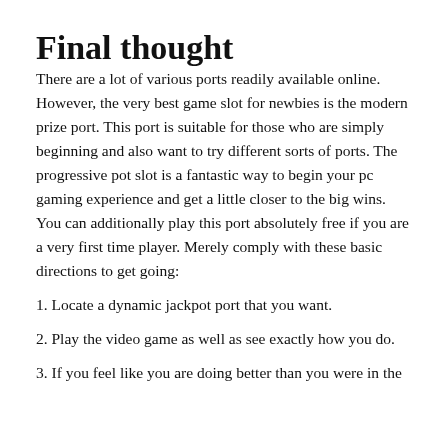Final thought
There are a lot of various ports readily available online. However, the very best game slot for newbies is the modern prize port. This port is suitable for those who are simply beginning and also want to try different sorts of ports. The progressive pot slot is a fantastic way to begin your pc gaming experience and get a little closer to the big wins. You can additionally play this port absolutely free if you are a very first time player. Merely comply with these basic directions to get going:
1. Locate a dynamic jackpot port that you want.
2. Play the video game as well as see exactly how you do.
3. If you feel like you are doing better than you were in the